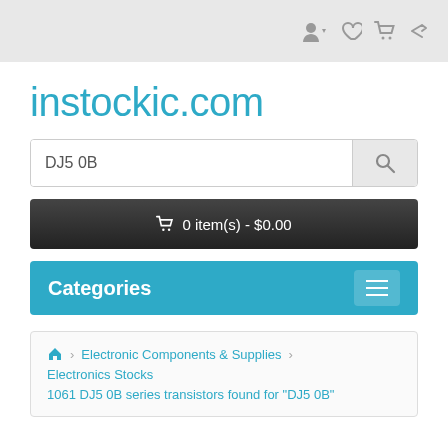[top navigation bar with user, wishlist, cart, share icons]
instockic.com
DJ5 0B [search box]
0 item(s) - $0.00
Categories
Electronic Components & Supplies > Electronics Stocks > 1061 DJ5 0B series transistors found for "DJ5 0B"